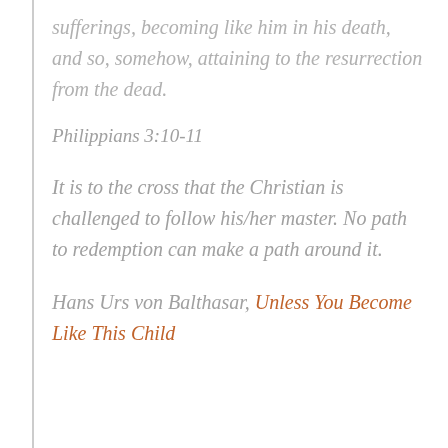sufferings, becoming like him in his death, and so, somehow, attaining to the resurrection from the dead.
Philippians 3:10-11
It is to the cross that the Christian is challenged to follow his/her master. No path to redemption can make a path around it.
Hans Urs von Balthasar, Unless You Become Like This Child